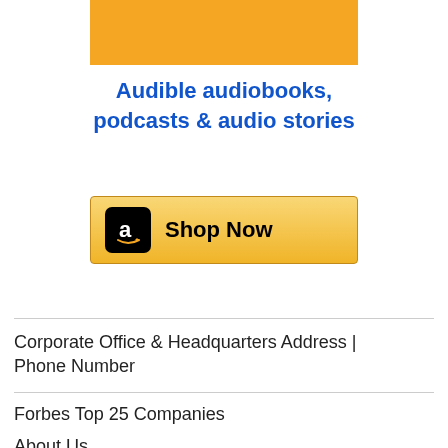[Figure (illustration): Orange rectangle banner area (partial, cropped at top)]
Audible audiobooks, podcasts & audio stories
[Figure (infographic): Amazon 'Shop Now' button with Amazon logo on gold/yellow gradient background]
Corporate Office & Headquarters Address | Phone Number
Forbes Top 25 Companies
About Us